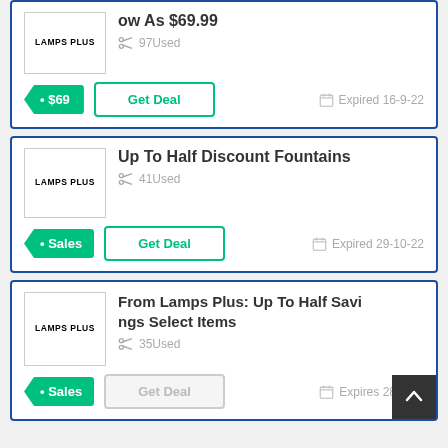ow As $69.99 | 97Used | Get Deal | Expired 16-9-22 | $69
Up To Half Discount Fountains | 41Used | Get Deal | Expired 29-10-22 | Sales
From Lamps Plus: Up To Half Savings Select Items | 35Used | Get Deal | Expires 28-8-22 | Sales